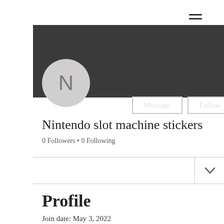[Figure (screenshot): Hamburger menu icon (three horizontal lines) in top right corner]
[Figure (illustration): Dark gray banner/header background with Message and Follow buttons and avatar circle with letter N]
Nintendo slot machine stickers
0 Followers • 0 Following
Profile
Join date: May 3, 2022
About